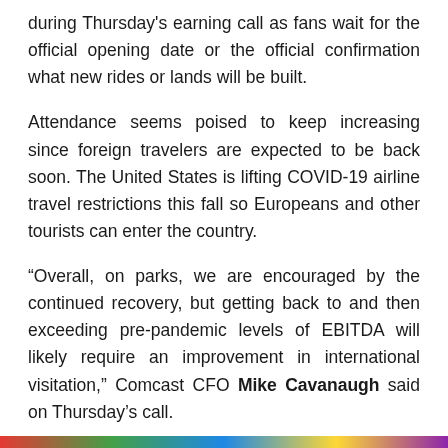during Thursday's earning call as fans wait for the official opening date or the official confirmation what new rides or lands will be built.
Attendance seems poised to keep increasing since foreign travelers are expected to be back soon. The United States is lifting COVID-19 airline travel restrictions this fall so Europeans and other tourists can enter the country.
“Overall, on parks, we are encouraged by the continued recovery, but getting back to and then exceeding pre-pandemic levels of EBITDA will likely require an improvement in international visitation,” Comcast CFO Mike Cavanaugh said on Thursday’s call.